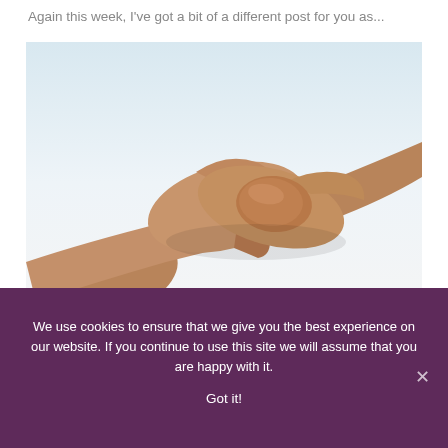Again this week, I've got a bit of a different post for you as...
[Figure (photo): Two people shaking hands against a light blue/white background, showing a close-up of the handshake from the wrists down.]
We use cookies to ensure that we give you the best experience on our website. If you continue to use this site we will assume that you are happy with it.

Got it!